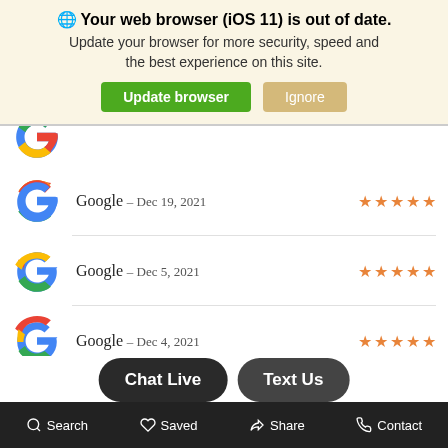🌐 Your web browser (iOS 11) is out of date. Update your browser for more security, speed and the best experience on this site.
Google – Dec 19, 2021 ★★★★★
Google – Dec 5, 2021 ★★★★★
Google – Dec 4, 2021 ★★★★★
Google – Dec 3, 2021 ★★★★★
Chat Live  Text Us
Search  Saved  Share  Contact